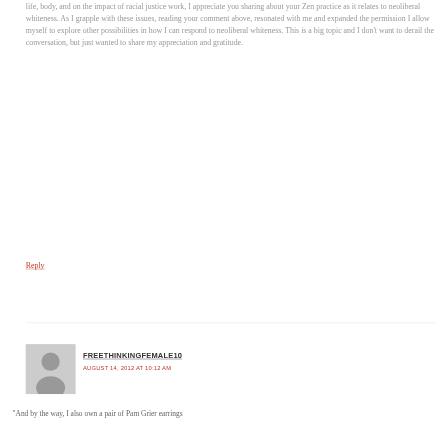life, body, and on the impact of racial justice work, I appreciate you sharing about your Zen practice as it relates to neoliberal whiteness. As I grapple with these issues, reading your comment above, resonated with me and expanded the permission I allow myself to explore other possibilities in how I can respond to neoliberal whiteness. This is a big topic and I don't want to derail the conversation, but just wanted to share my appreciation and gratitude.
Reply
[Figure (illustration): Generic grey avatar/profile picture placeholder showing a silhouette of a person]
FREETHINKINGFEMALE10
AUGUST 14, 2012 AT 10:12 AM
"And by the way, I also own a pair of Pam Grier earrings